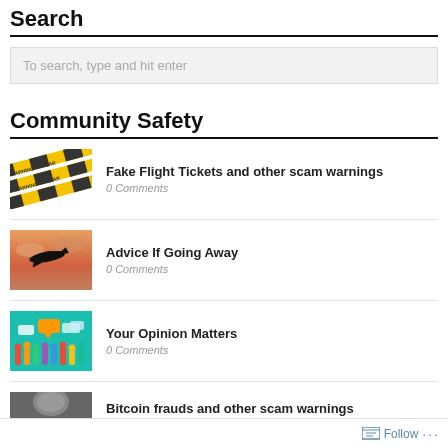Search
To search, type and hit enter
Community Safety
[Figure (photo): Yellow warning tape crossed over itself with WARNING text repeated]
Fake Flight Tickets and other scam warnings
0 Comments
[Figure (photo): Silhouette of airplane flying against sunset sky with orange and pink clouds]
Advice If Going Away
0 Comments
[Figure (photo): Colorful illustration of people holding speech bubbles on teal background]
Your Opinion Matters
0 Comments
[Figure (photo): Bitcoin related image, partially visible at bottom]
Bitcoin frauds and other scam warnings
Follow